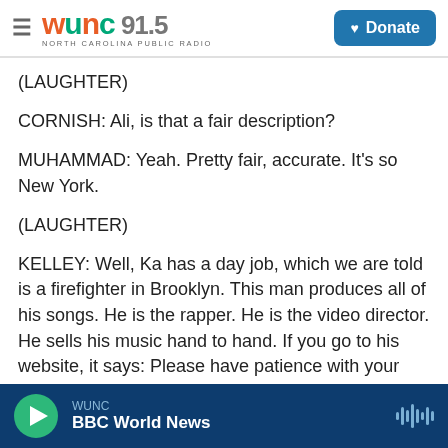WUNC 91.5 North Carolina Public Radio | Donate
(LAUGHTER)
CORNISH: Ali, is that a fair description?
MUHAMMAD: Yeah. Pretty fair, accurate. It's so New York.
(LAUGHTER)
KELLEY: Well, Ka has a day job, which we are told is a firefighter in Brooklyn. This man produces all of his songs. He is the rapper. He is the video director. He sells his music hand to hand. If you go to his website, it says: Please have patience with your
WUNC | BBC World News